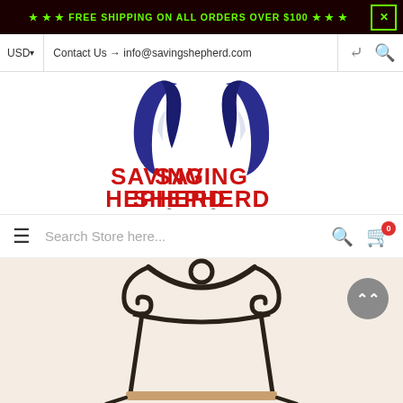★ ★ ★ FREE SHIPPING ON ALL ORDERS OVER $100 ★ ★ ★
USD ▾   Contact Us → info@savingshepherd.com
[Figure (logo): Saving Shepherd logo: two blue shepherd dog ears above red bold text SAVING SHEPHERD .com]
Search Store here...
[Figure (photo): Partial product image: a dark wrought-iron scrollwork display rack/stand, with a small wooden shelf visible at the bottom, on a light background]